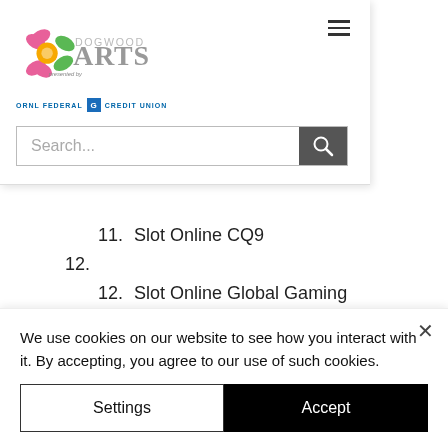[Figure (logo): Dogwood Arts logo with flower graphic and 'presented by ORNL Federal Credit Union' text]
Search...
11. Slot Online CQ9
12.
12. Slot Online Global Gaming
13.
13. Slot Online One Touch
14.
We use cookies on our website to see how you interact with it. By accepting, you agree to our use of such cookies.
Settings
Accept